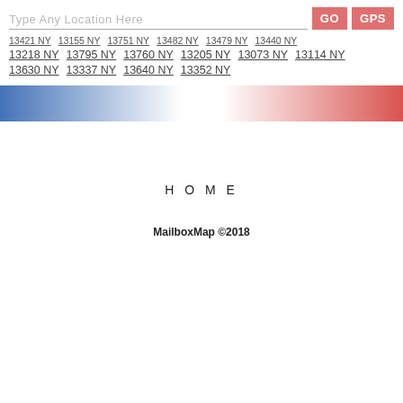Type Any Location Here | GO | GPS
13421 NY  13155 NY  13751 NY  13482 NY  13479 NY  13440 NY
13218 NY  13795 NY  13760 NY  13205 NY  13073 NY  13114 NY
13630 NY  13337 NY  13640 NY  13352 NY
[Figure (infographic): A horizontal gradient bar transitioning from blue on the left through white in the center to red/pink on the right.]
H O M E
MailboxMap ©2018